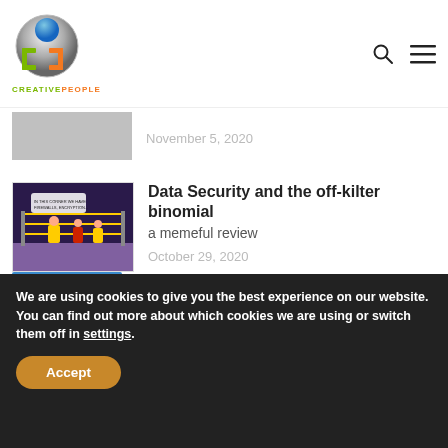[Figure (logo): Creative People logo with metallic globe icon and green/orange text]
November 5, 2020
Data Security and the off-kilter binomial
a memeful review
October 29, 2020
We are using cookies to give you the best experience on our website.
You can find out more about which cookies we are using or switch them off in settings.
Accept